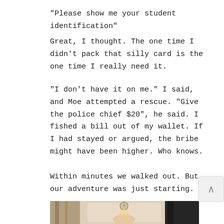“Please show me your student identification”
Great, I thought.  The one time I didn’t pack that silly card is the one time I really need it.
“I don’t have it on me.” I said, and Moe attempted a rescue.  “Give the police chief $20“, he said.   I fished a bill out of my wallet.  If I had stayed or argued, the bribe might have been higher.  Who knows.
Within minutes we walked out.  But our adventure was just starting.
[Figure (photo): Indoor photo showing a room interior with a clock on the wall, a person (woman with light hair) in the center, and dark figure or object on the right side. Wooden elements on the left.]